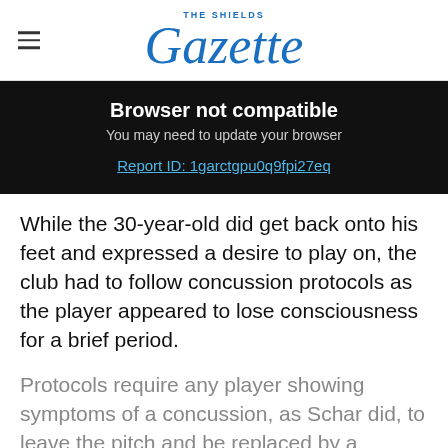THE SHIELDS Gazette
Browser not compatible
You may need to update your browser
Report ID: 1garctgpu0q9fpi27eq
While the 30-year-old did get back onto his feet and expressed a desire to play on, the club had to follow concussion protocols as the player appeared to lose consciousness for a brief period.
Protocols require any player showing symptoms of a concussion, as Schar did, to leave the pitch and be replaced by a concussion